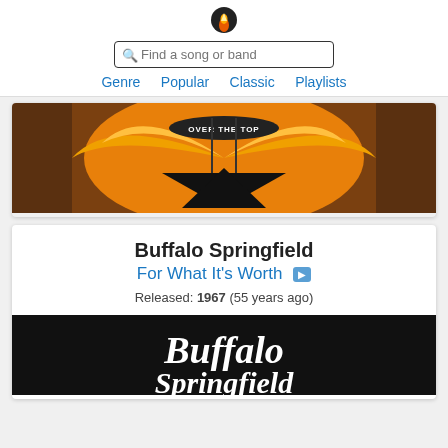[Figure (logo): Flame/fire logo icon]
Find a song or band
Genre   Popular   Classic   Playlists
[Figure (illustration): Album artwork: Over The Top - volcano with fire wings and banner]
Buffalo Springfield
For What It's Worth
Released: 1967 (55 years ago)
[Figure (illustration): Buffalo Springfield album cover - white text on black background]